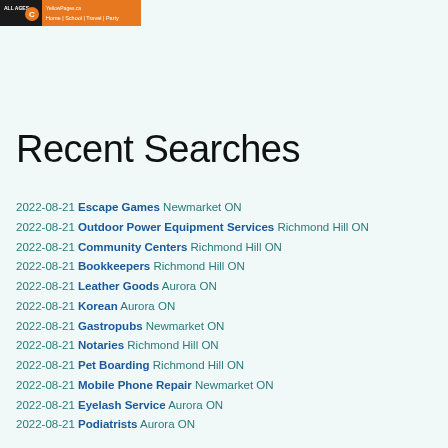[Figure (screenshot): Orange banner advertisement with 'ALL AGES' label and navigation links: Home | School | Travel | Party]
Recent Searches
2022-08-21 Escape Games Newmarket ON
2022-08-21 Outdoor Power Equipment Services Richmond Hill ON
2022-08-21 Community Centers Richmond Hill ON
2022-08-21 Bookkeepers Richmond Hill ON
2022-08-21 Leather Goods Aurora ON
2022-08-21 Korean Aurora ON
2022-08-21 Gastropubs Newmarket ON
2022-08-21 Notaries Richmond Hill ON
2022-08-21 Pet Boarding Richmond Hill ON
2022-08-21 Mobile Phone Repair Newmarket ON
2022-08-21 Eyelash Service Aurora ON
2022-08-21 Podiatrists Aurora ON